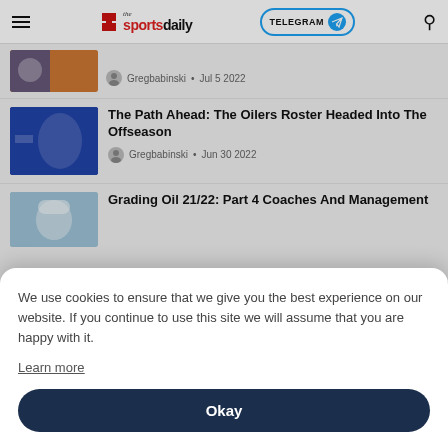the sportsdaily — TELEGRAM — search icon
Gregbabinski • Jul 5 2022
The Path Ahead: The Oilers Roster Headed Into The Offseason
Gregbabinski • Jun 30 2022
Grading Oil 21/22: Part 4 Coaches And Management
We use cookies to ensure that we give you the best experience on our website. If you continue to use this site we will assume that you are happy with it. Learn more
Okay